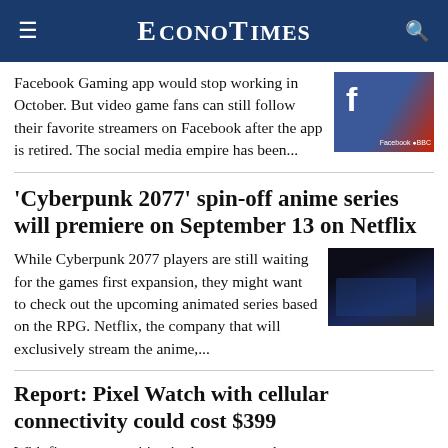ECONOTIMES
Facebook Gaming app would stop working in October. But video game fans can still follow their favorite streamers on Facebook after the app is retired. The social media empire has been...
'Cyberpunk 2077' spin-off anime series will premiere on September 13 on Netflix
While Cyberpunk 2077 players are still waiting for the games first expansion, they might want to check out the upcoming animated series based on the RPG. Netflix, the company that will exclusively stream the anime,...
Report: Pixel Watch with cellular connectivity could cost $399
With fiercer competition in the smartwatch